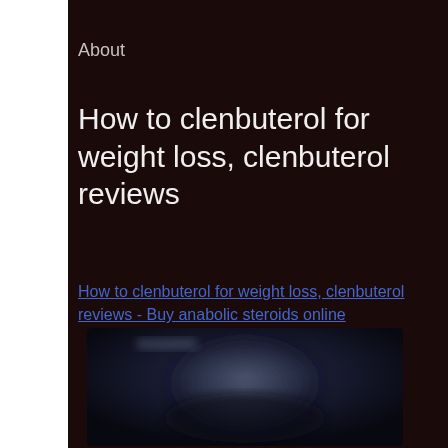About
How to clenbuterol for weight loss, clenbuterol reviews
How to clenbuterol for weight loss, clenbuterol reviews - Buy anabolic steroids online
[Figure (photo): Blurred image, likely a person or product, dark background with blue/dark tones, partially visible at the bottom of the page]